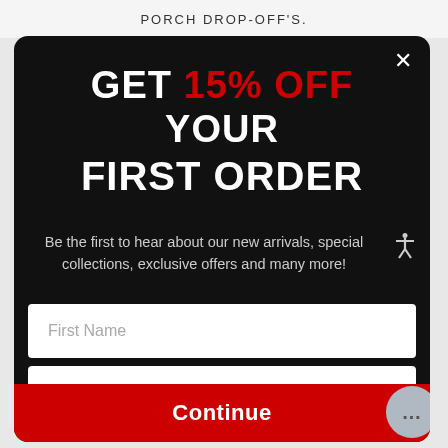PORCH DROP-OFF'S.
GET 15% OFF YOUR FIRST ORDER
Be the first to hear about our new arrivals, special collections, exclusive offers and many more!
First Name
Email
Continue